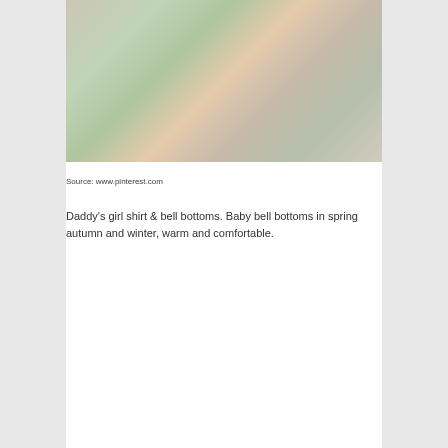[Figure (photo): A faded/washed-out photo of a child wearing clothing, set against a grassy background. Colors suggest outdoor setting with green foliage.]
Source: www.pinterest.com
Daddy’s girl shirt & bell bottoms. Baby bell bottoms in spring autumn and winter, warm and comfortable.